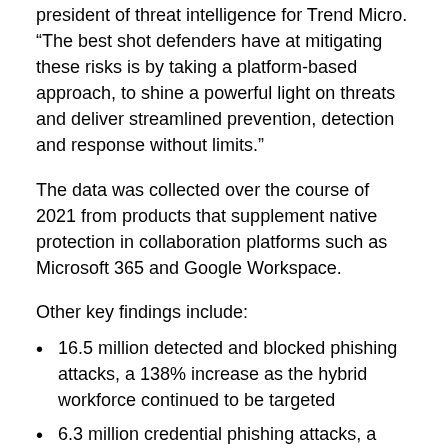president of threat intelligence for Trend Micro. “The best shot defenders have at mitigating these risks is by taking a platform-based approach, to shine a powerful light on threats and deliver streamlined prevention, detection and response without limits.”
The data was collected over the course of 2021 from products that supplement native protection in collaboration platforms such as Microsoft 365 and Google Workspace.
Other key findings include:
16.5 million detected and blocked phishing attacks, a 138% increase as the hybrid workforce continued to be targeted
6.3 million credential phishing attacks, a 15% increase as phishing remains a primary means of compromise
3.3 million malicious files detected, including a 134% surge in known threats and a 221% increase in unknown malware